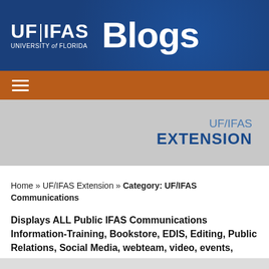[Figure (logo): UF/IFAS Blogs header banner with blue background showing UF|IFAS University of Florida logo and 'Blogs' text in white]
[Figure (infographic): Orange navigation bar with white hamburger menu icon]
[Figure (infographic): Gray banner with 'UF/IFAS EXTENSION' text aligned right]
Home » UF/IFAS Extension » Category: UF/IFAS Communications
Displays ALL Public IFAS Communications Information-Training, Bookstore, EDIS, Editing, Public Relations, Social Media, webteam, video, events, photo, and graphics